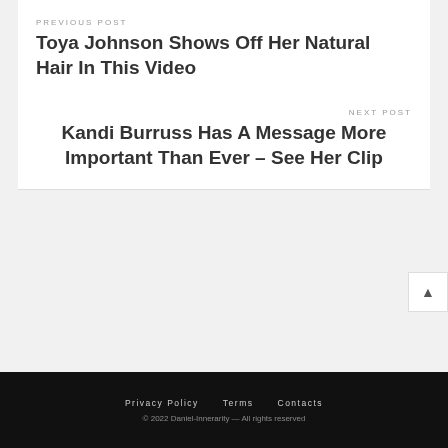PREVIOUS POST
Toya Johnson Shows Off Her Natural Hair In This Video
NEXT POST
Kandi Burruss Has A Message More Important Than Ever – See Her Clip
Privacy Policy   Terms   Contacts
© 2022 Daniel-Innerarity — All rights reserved